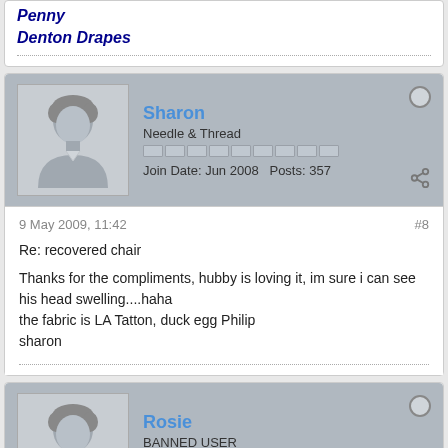Penny
Denton Drapes
Sharon
Needle & Thread
Join Date: Jun 2008   Posts: 357
9 May 2009, 11:42
#8
Re: recovered chair
Thanks for the compliments, hubby is loving it, im sure i can see his head swelling....haha
the fabric is LA Tatton, duck egg Philip
sharon
Rosie
BANNED USER
Join Date: Nov 2008   Posts: 559